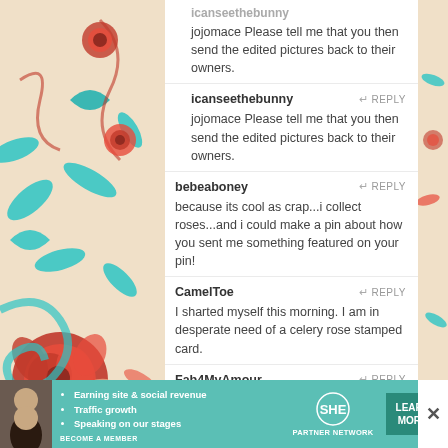[Figure (illustration): Decorative floral pattern on left side of page with red roses, teal/turquoise leaves, and swirling elements on a cream/beige background]
icanseethebunny (partial username cut off at top)
jojomace Please tell me that you then send the edited pictures back to their owners.
icanseethebunny
jojomace Please tell me that you then send the edited pictures back to their owners.
bebeaboney
because its cool as crap...i collect roses...and i could make a pin about how you sent me something featured on your pin!
CamelToe
I sharted myself this morning. I am in desperate need of a celery rose stamped card.
Fab4MyAmour
[Figure (infographic): SHE Partner Network advertisement banner with teal background, woman photo, bullet points: Earning site & social revenue, Traffic growth, Speaking on our stages, BECOME A MEMBER, and LEARN MORE button]